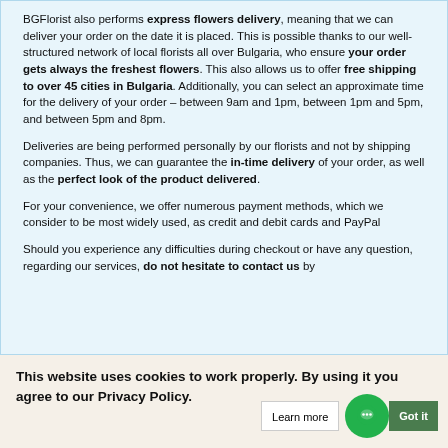BGFlorist also performs express flowers delivery, meaning that we can deliver your order on the date it is placed. This is possible thanks to our well-structured network of local florists all over Bulgaria, who ensure your order gets always the freshest flowers. This also allows us to offer free shipping to over 45 cities in Bulgaria. Additionally, you can select an approximate time for the delivery of your order – between 9am and 1pm, between 1pm and 5pm, and between 5pm and 8pm.
Deliveries are being performed personally by our florists and not by shipping companies. Thus, we can guarantee the in-time delivery of your order, as well as the perfect look of the product delivered.
For your convenience, we offer numerous payment methods, which we consider to be most widely used, as credit and debit cards and PayPal
Should you experience any difficulties during checkout or have any question, regarding our services, do not hesitate to contact us by
This website uses cookies to work properly. By using it you agree to our Privacy Policy.